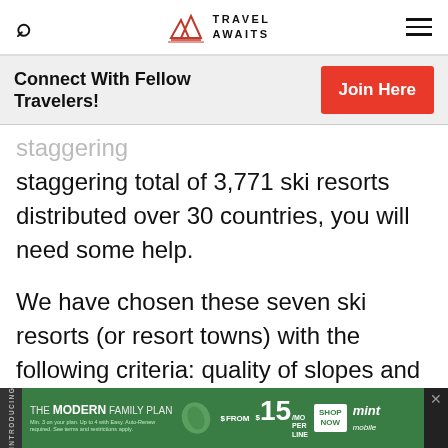Travel Awaits
Connect With Fellow Travelers!
staggering total of 3,771 ski resorts distributed over 30 countries, you will need some help.
We have chosen these seven ski resorts (or resort towns) with the following criteria: quality of slopes and lifts,
[Figure (other): Advertisement banner for Mint Mobile The Modern Family Plan from $15/mo per line]